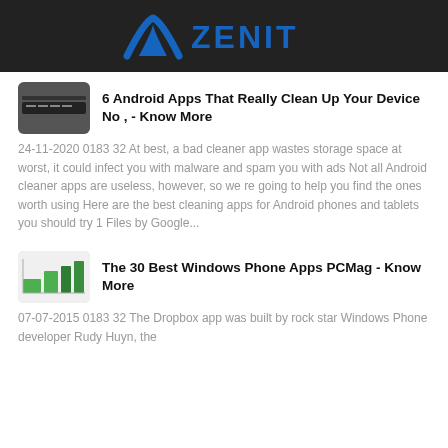ZENIT
6 Android Apps That Really Clean Up Your Device No , - Know More
24-11-2020 0183 32 At best, a bad cleaner app wastes storage space at worst, it could infect you with malware and spam you with ads Not all Android cleaner apps are useless, however, so we re going to help you find the ones worth using Here are the best cleaning apps for Android phones and tablets you should try 1 Files by Google...
The 30 Best Windows Phone Apps PCMag - Know More
07-07-2015 0183 32 The Dropbox app was built by rock star Windows Phone developer Rudy Huyn, the